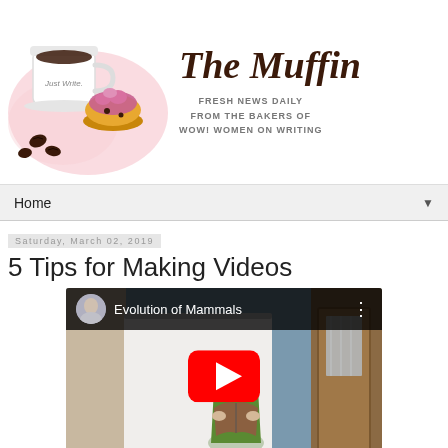[Figure (logo): The Muffin blog header with coffee cup, muffin illustration, and text 'The Muffin - Fresh News Daily from the Bakers of WOW! Women on Writing']
Home ▼
Saturday, March 02, 2019
5 Tips for Making Videos
[Figure (screenshot): YouTube video thumbnail showing 'Evolution of Mammals' with a woman reading a book, circular avatar, and red YouTube play button]